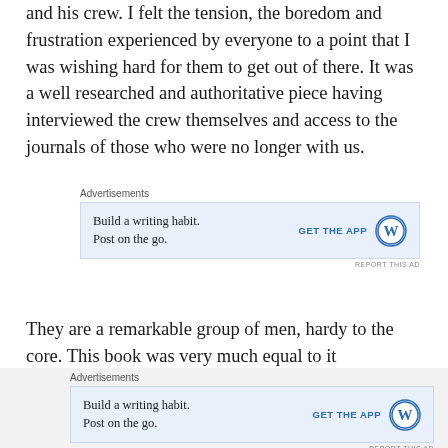and his crew. I felt the tension, the boredom and frustration experienced by everyone to a point that I was wishing hard for them to get out of there. It was a well researched and authoritative piece having interviewed the crew themselves and access to the journals of those who were no longer with us.
[Figure (other): WordPress advertisement banner: 'Build a writing habit. Post on the go.' with GET THE APP button and WordPress logo]
They are a remarkable group of men, hardy to the core. This book was very much equal to it
We gave it 5 Trees
[Figure (other): WordPress advertisement banner (second instance): 'Build a writing habit. Post on the go.' with GET THE APP button and WordPress logo]